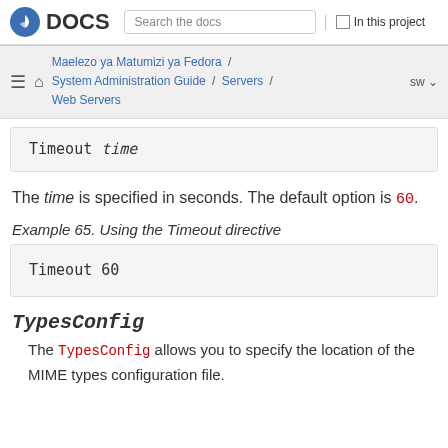Fedora DOCS | Search the docs | In this project
Maelezo ya Matumizi ya Fedora / System Administration Guide / Servers / Web Servers | sw
Timeout time
The time is specified in seconds. The default option is 60.
Example 65. Using the Timeout directive
Timeout 60
TypesConfig
The TypesConfig allows you to specify the location of the MIME types configuration file.